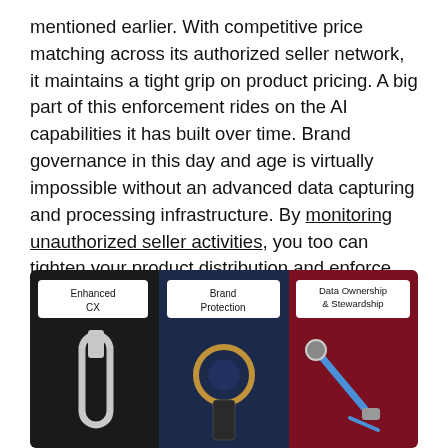mentioned earlier. With competitive price matching across its authorized seller network, it maintains a tight grip on product pricing. A big part of this enforcement rides on the AI capabilities it has built over time. Brand governance in this day and age is virtually impossible without an advanced data capturing and processing infrastructure. By monitoring unauthorized seller activities, you too can tighten your product distribution and enforce brand policies more effectively.
[Figure (infographic): Infographic showing three panels side by side: left panel (dark/black background) labeled 'Enhanced CX' with a Dyson fan/heater product image; center panel (dark navy background) labeled 'Brand Protection' with a Dyson hairdryer product image; right panel (dark red background) labeled 'Data Ownership & Stewardship' with a Dyson vacuum cleaner product image.]